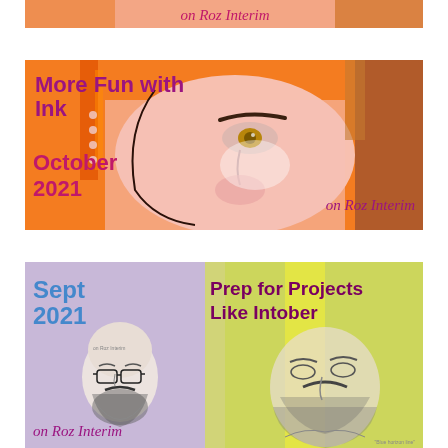[Figure (illustration): Partial cropped banner showing 'on Roz Interim' text in magenta on an orange/pink illustrated background with a face painting]
[Figure (illustration): Banner reading 'More Fun with Ink / October 2021 / on Roz Interim' with a large expressive watercolor face painting in pink and orange tones]
[Figure (illustration): Banner reading 'Sept 2021 / Prep for Projects Like Intober / on Roz Interim' with pen-and-ink portrait sketches on a lavender/yellow background]